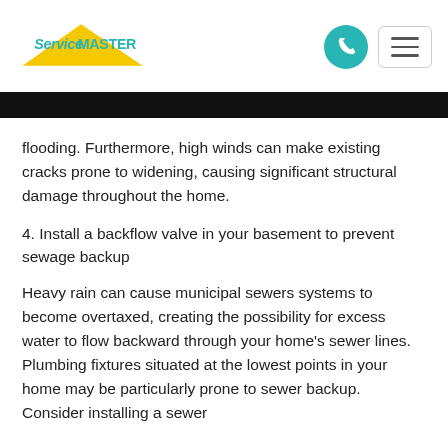[Figure (logo): ServiceMASTER Restore logo with yellow triangle and teal/green text]
flooding. Furthermore, high winds can make existing cracks prone to widening, causing significant structural damage throughout the home.
4. Install a backflow valve in your basement to prevent sewage backup
Heavy rain can cause municipal sewers systems to become overtaxed, creating the possibility for excess water to flow backward through your home's sewer lines. Plumbing fixtures situated at the lowest points in your home may be particularly prone to sewer backup. Consider installing a sewer backflow valve to prevent sewage entering your home.